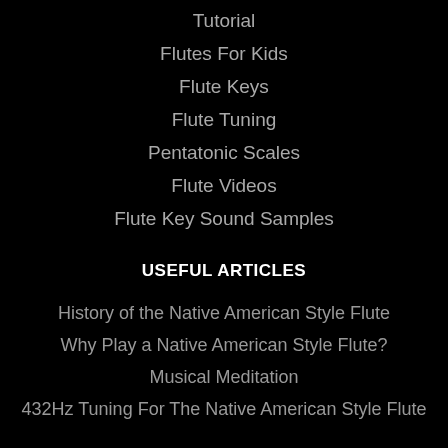Tutorial
Flutes For Kids
Flute Keys
Flute Tuning
Pentatonic Scales
Flute Videos
Flute Key Sound Samples
USEFUL ARTICLES
History of the Native American Style Flute
Why Play a Native American Style Flute?
Musical Meditation
432Hz Tuning For The Native American Style Flute